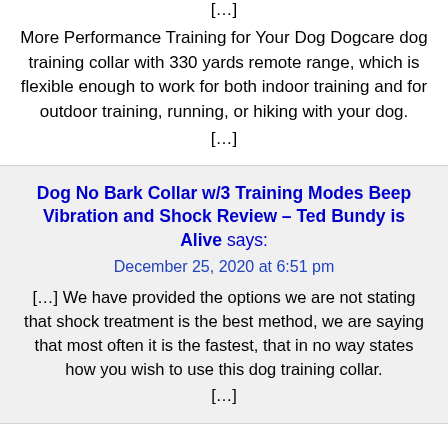[…]
More Performance Training for Your Dog Dogcare dog training collar with 330 yards remote range, which is flexible enough to work for both indoor training and for outdoor training, running, or hiking with your dog.
[…]
Dog No Bark Collar w/3 Training Modes Beep Vibration and Shock Review – Ted Bundy is Alive says:
December 25, 2020 at 6:51 pm
[…] We have provided the options we are not stating that shock treatment is the best method, we are saying that most often it is the fastest, that in no way states how you wish to use this dog training collar.
[…]